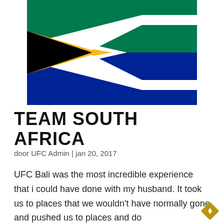[Figure (illustration): South African flag shown partially, with black triangle on left with gold/yellow border, white chevron stripes, green top section, and blue bottom section.]
TEAM SOUTH AFRICA
door UFC Admin | jan 20, 2017
UFC Bali was the most incredible experience that i could have done with my husband. It took us to places that we wouldn't have normally gone and pushed us to places and do